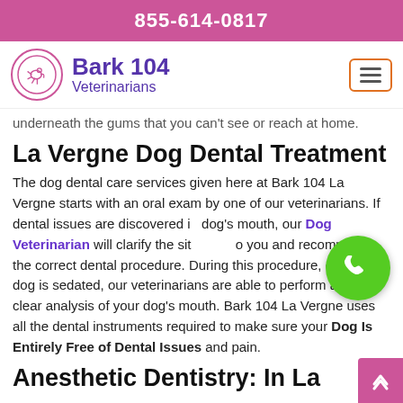855-614-0817
[Figure (logo): Bark 104 Veterinarians logo with pink dog silhouette in circle]
underneath the gums that you can't see or reach at home.
La Vergne Dog Dental Treatment
The dog dental care services given here at Bark 104 La Vergne starts with an oral exam by one of our veterinarians. If dental issues are discovered in your dog's mouth, our Dog Veterinarian will clarify the situation to you and recommend the correct dental procedure. During this procedure, once your dog is sedated, our veterinarians are able to perform a more clear analysis of your dog's mouth. Bark 104 La Vergne uses all the dental instruments required to make sure your Dog Is Entirely Free of Dental Issues and pain.
Anesthetic Dentistry: In La...